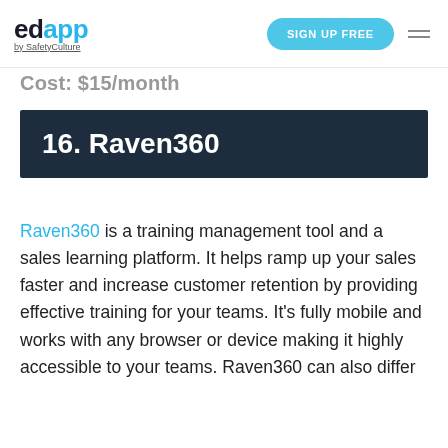edapp by SafetyCulture | SIGN UP FREE
Cost: $15/month
16. Raven360
Raven360 is a training management tool and a sales learning platform. It helps ramp up your sales faster and increase customer retention by providing effective training for your teams. It's fully mobile and works with any browser or device making it highly accessible to your teams. Raven360 can also differ...